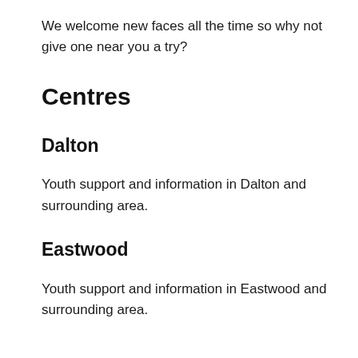We welcome new faces all the time so why not give one near you a try?
Centres
Dalton
Youth support and information in Dalton and surrounding area.
Eastwood
Youth support and information in Eastwood and surrounding area.